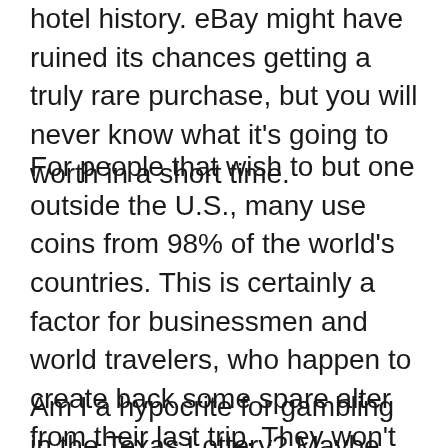hotel history. eBay might have ruined its chances getting a truly rare purchase, but you will never know what it's going to worth in a short time.
For people that wish to but one outside the U.S., many use coins from 98% of the world's countries. This is certainly a factor for businessmen and world travelers, who happen to create back some spare alter from their last trip. They won't sort them, but obtain at least stash them for late. Many slot machine banks have an area in the spine for which empty the common cold doesn't when it's full.
Am I a hypocrite for gambling in the Texas Lottery? Maybe so, or maybe I play because I